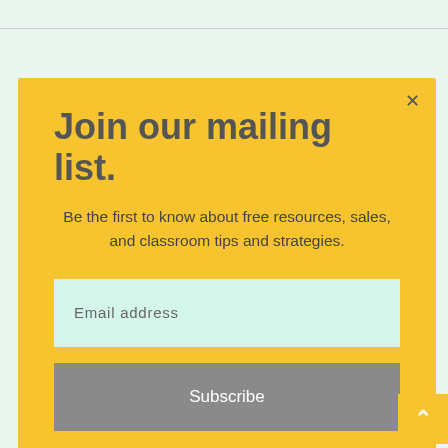Join our mailing list.
Be the first to know about free resources, sales, and classroom tips and strategies.
Email address
Subscribe
9 permainan :
* Beker Online